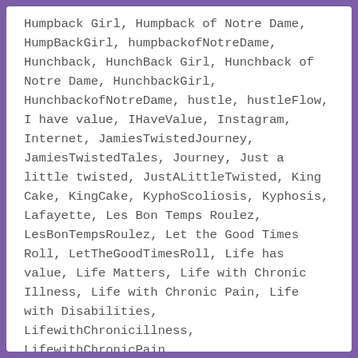Humpback Girl, Humpback of Notre Dame, HumpBackGirl, humpbackofNotreDame, Hunchback, HunchBack Girl, Hunchback of Notre Dame, HunchbackGirl, HunchbackofNotreDame, hustle, hustleFlow, I have value, IHaveValue, Instagram, Internet, JamiesTwistedJourney, JamiesTwistedTales, Journey, Just a little twisted, JustALittleTwisted, King Cake, KingCake, KyphoScoliosis, Kyphosis, Lafayette, Les Bon Temps Roulez, LesBonTempsRoulez, Let the Good Times Roll, LetTheGoodTimesRoll, Life has value, Life Matters, Life with Chronic Illness, Life with Chronic Pain, Life with Disabilities, LifewithChronicillness, LifewithChronicPain, LifeWithDisabilities,